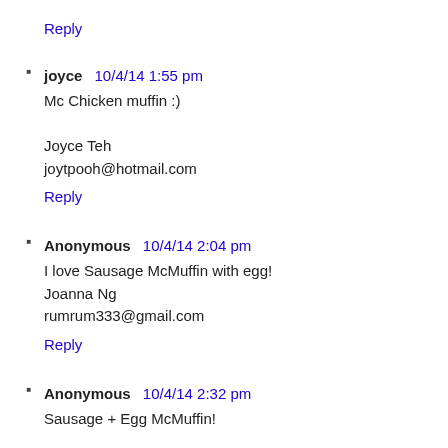Reply
joyce  10/4/14 1:55 pm
Mc Chicken muffin :)

Joyce Teh
joytpooh@hotmail.com
Reply
Anonymous  10/4/14 2:04 pm
I love Sausage McMuffin with egg!
Joanna Ng
rumrum333@gmail.com
Reply
Anonymous  10/4/14 2:32 pm
Sausage + Egg McMuffin!